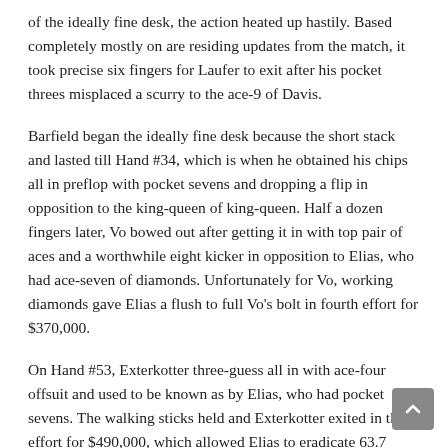of the ideally fine desk, the action heated up hastily. Based completely mostly on are residing updates from the match, it took precise six fingers for Laufer to exit after his pocket threes misplaced a scurry to the ace-9 of Davis.
Barfield began the ideally fine desk because the short stack and lasted till Hand #34, which is when he obtained his chips all in preflop with pocket sevens and dropping a flip in opposition to the king-queen of king-queen. Half a dozen fingers later, Vo bowed out after getting it in with top pair of aces and a worthwhile eight kicker in opposition to Elias, who had ace-seven of diamonds. Unfortunately for Vo, working diamonds gave Elias a flush to full Vo's bolt in fourth effort for $370,000.
On Hand #53, Exterkotter three-guess all in with ace-four offsuit and used to be known as by Elias, who had pocket sevens. The walking sticks held and Exterkotter exited in third effort for $490,000, which allowed Elias to eradicate 63.7 million into heads-up play in opposition to the 37.75 million of Davis.
The heads-up match lasted virtually 100 fingers and proved to be a help-and-forth affair. In the end Davis picked off a bluff